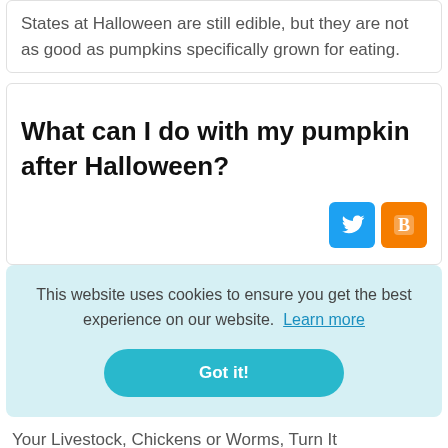States at Halloween are still edible, but they are not as good as pumpkins specifically grown for eating.
What can I do with my pumpkin after Halloween?
[Figure (other): Twitter and Blogger social share icon buttons]
This website uses cookies to ensure you get the best experience on our website. Learn more
Got it!
Your Livestock, Chickens or Worms, Turn It